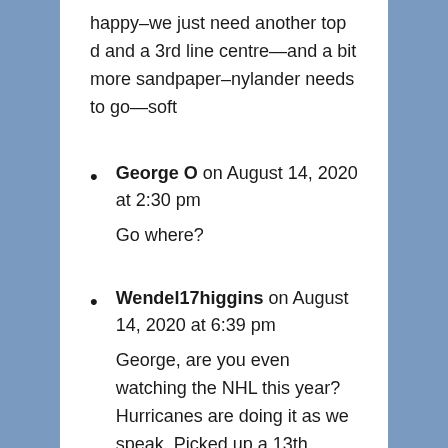happy–we just need another top d and a 3rd line centre—and a bit more sandpaper–nylander needs to go—soft
George O on August 14, 2020 at 2:30 pm
Go where?
Wendel17higgins on August 14, 2020 at 6:39 pm
George, are you even watching the NHL this year? Hurricanes are doing it as we speak. Picked up a 13th overall for Marleau and are a